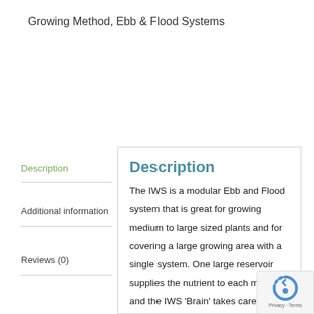Growing Method, Ebb & Flood Systems
Description
Additional information
Reviews (0)
Description
The IWS is a modular Ebb and Flood system that is great for growing medium to large sized plants and for covering a large growing area with a single system. One large reservoir supplies the nutrient to each module and the IWS 'Brain' takes care of feeding cycles making it very simple to use.
The containers can be laid out to suit your growing area and